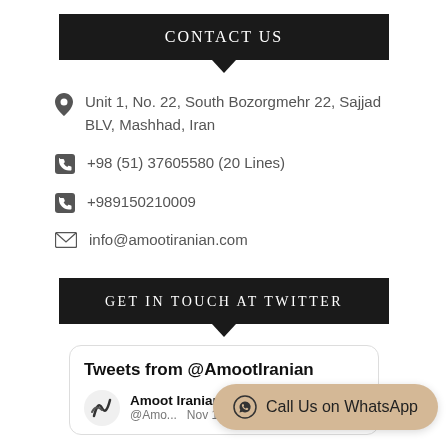CONTACT US
Unit 1, No. 22, South Bozorgmehr 22, Sajjad BLV, Mashhad, Iran
+98 (51) 37605580 (20 Lines)
+989150210009
info@amootiranian.com
GET IN TOUCH AT TWITTER
Tweets from @AmootIranian
Amoot Iranian @Amo... Nov 11, 2019
Call Us on WhatsApp